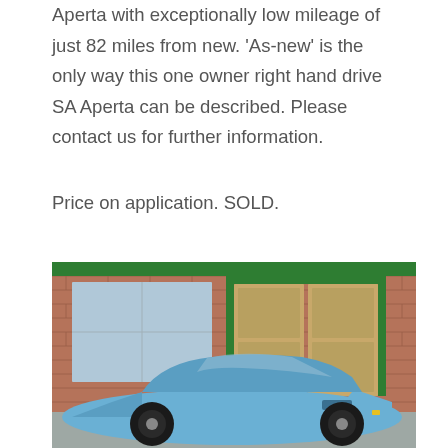Aperta with exceptionally low mileage of just 82 miles from new. 'As-new' is the only way this one owner right hand drive SA Aperta can be described. Please contact us for further information.
Price on application. SOLD.
[Figure (photo): A light blue Ferrari SA Aperta sports car photographed in front of a brick building with green-trimmed wooden doors and windows.]